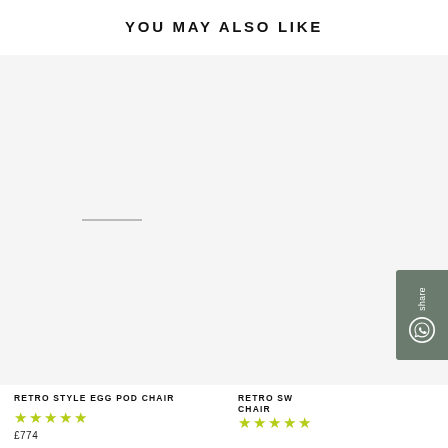YOU MAY ALSO LIKE
[Figure (photo): Product image area for Retro Style Egg Pod Chair - white/blank product photo placeholder]
RETRO STYLE EGG POD CHAIR
★★★★★
£774
[Figure (photo): Product image area for Retro Swivel Chair - white/blank product photo placeholder (partially visible, right side cut off)]
RETRO SW... CHAIR
★★★★★
£774